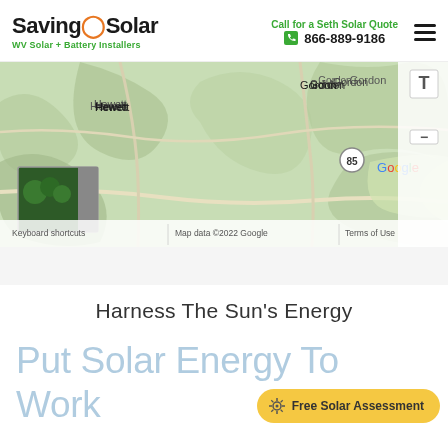SavingOnSolar — WV Solar + Battery Installers | Call for a Seth Solar Quote 866-889-9186
[Figure (map): Google Maps screenshot showing the area around Hewett, WV with labels for Gordon, Whitesville, Dorothy, Clear Creek, route 85 marker, and a street view thumbnail in the lower left. Google logo and map attribution visible at bottom.]
Harness The Sun's Energy
Put Solar Energy To Work On Your Se...
Free Solar Assessment